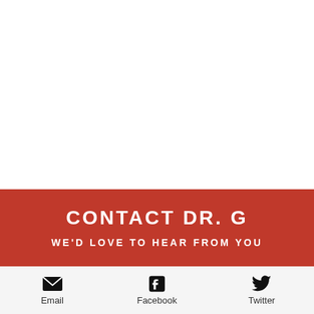CONTACT DR. G
WE'D LOVE TO HEAR FROM YOU
[Figure (infographic): Social media contact icons for Email, Facebook, and Twitter with labels below each icon]